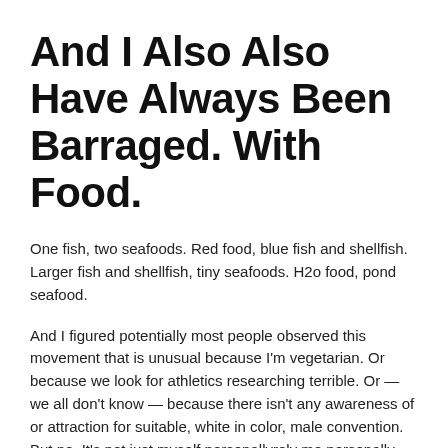And I Also Also Have Always Been Barraged. With Food.
One fish, two seafoods. Red food, blue fish and shellfish. Larger fish and shellfish, tiny seafoods. H2o food, pond seafood.
And I figured potentially most people observed this movement that is unusual because I'm vegetarian. Or because we look for athletics researching terrible. Or — we all don't know — because there isn't any awareness of or attraction for suitable, white in color, male convention. But no. It's not just myself personallyrely me personally.
According to a 2018 study by Fishbrain (um, it's a news which happen to be sociable for fishers?), 1 in 10 males in bay area keep fish in their Tinder shape images. In ny, it really is 1 in 20. In Florida? An extraordinary 1 in 5 guys bring a fishy pal within kinds.